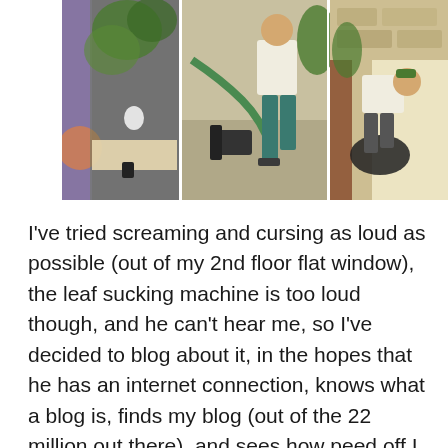[Figure (photo): A three-panel photo strip showing outdoor scenes: left panel shows a balcony with plants and a white object circled in red, middle panel shows a man in white shirt and teal pants using a leaf blower/vacuum machine, right panel shows a man bending over near a stone wall.]
I've tried screaming and cursing as loud as possible (out of my 2nd floor flat window), the leaf sucking machine is too loud though, and he can't hear me, so I've decided to blog about it, in the hopes that he has an internet connection, knows what a blog is, finds my blog (out of the 22 million out there), and sees how peed off I am.